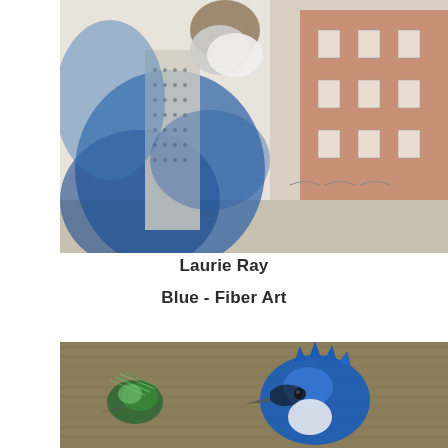[Figure (illustration): Watercolor and mixed media artwork showing a bearded man in blue coat with checkered scarf on the left side, and a terracotta brick building with windows on the right side, painted in blue, white, and terracotta tones.]
Laurie Ray
Blue - Fiber Art
[Figure (photo): Close-up photograph of fiber art embroidery on brown/khaki textured fabric showing two bird heads — a small green hummingbird on the left and a vibrant blue jay on the right, embroidered with colorful threads.]